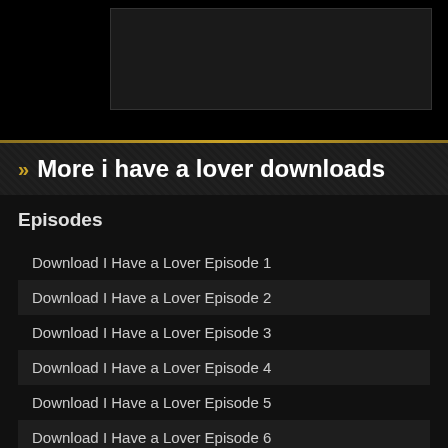» More i have a lover downloads
Episodes
Download I Have a Lover Episode 1
Download I Have a Lover Episode 2
Download I Have a Lover Episode 3
Download I Have a Lover Episode 4
Download I Have a Lover Episode 5
Download I Have a Lover Episode 6
Download I Have a Lover Episode 7
Download I Have a Lover Episode 8
Download I Have a Lover Episode 9
Download I Have a Lover Episode 10
Download I Have a Lover Episode 11